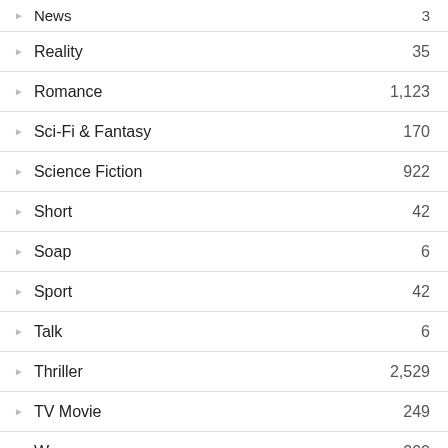News — 3
Reality — 35
Romance — 1,123
Sci-Fi & Fantasy — 170
Science Fiction — 922
Short — 42
Soap — 6
Sport — 42
Talk — 6
Thriller — 2,529
TV Movie — 249
War — 200